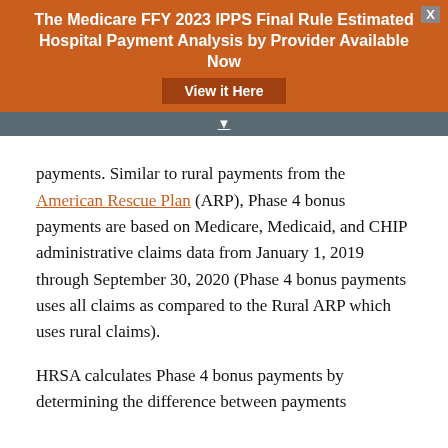The Medicare FFY 2023 IPPS Final Rule Estimated Hospital Payment Analysis by Provider Available Now
View it Here
payments. Similar to rural payments from the American Rescue Plan (ARP), Phase 4 bonus payments are based on Medicare, Medicaid, and CHIP administrative claims data from January 1, 2019 through September 30, 2020 (Phase 4 bonus payments uses all claims as compared to the Rural ARP which uses rural claims).
HRSA calculates Phase 4 bonus payments by determining the difference between payments